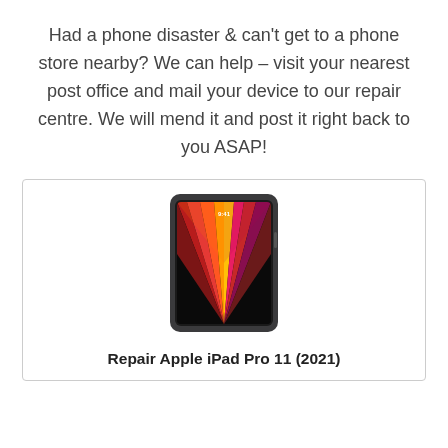Had a phone disaster & can't get to a phone store nearby? We can help – visit your nearest post office and mail your device to our repair centre. We will mend it and post it right back to you ASAP!
[Figure (photo): Apple iPad Pro 11 (2021) shown with colorful abstract wallpaper on screen, space gray color]
Repair Apple iPad Pro 11 (2021)